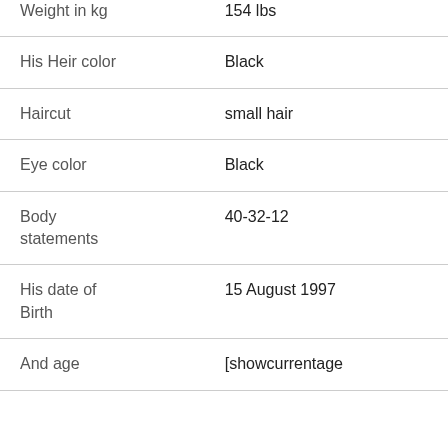| Field | Value |
| --- | --- |
| Weight in kg | 154 lbs |
| His Heir color | Black |
| Haircut | small hair |
| Eye color | Black |
| Body statements | 40-32-12 |
| His date of Birth | 15 August 1997 |
| And age | [showcurrentage |